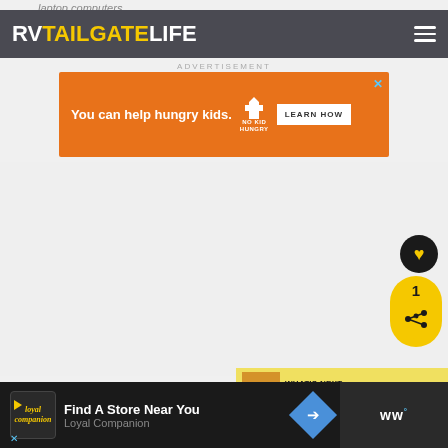laptop computers.
RVTAILGATELIFE
ADVERTISEMENT
[Figure (screenshot): Orange advertisement banner for No Kid Hungry charity with text 'You can help hungry kids.' and a 'LEARN HOW' button]
[Figure (infographic): Heart/like button (dark circle with yellow heart icon), share count bubble showing '1' in yellow, and share icon in yellow circle]
[Figure (screenshot): What's Next navigation bar showing 'RV Driving Safety Tips t...' with yellow background and thumbnail]
[Figure (screenshot): Bottom advertisement bar with Loyal Companion 'Find A Store Near You' ad on dark background and WW logo on right]